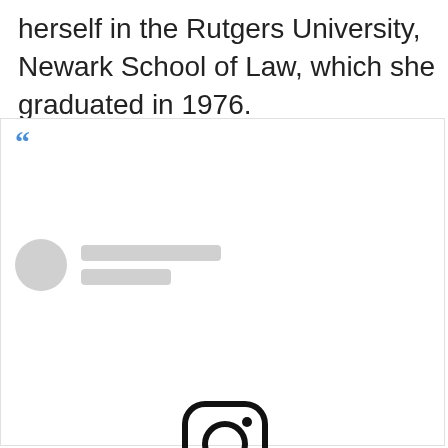herself in the Rutgers University, Newark School of Law, which she graduated in 1976.
[Figure (screenshot): Embedded Instagram post placeholder showing a quote block with blue quotation marks, a grey profile circle with two grey placeholder lines for username/handle, an Instagram logo icon in the center, and a 'View this post on Instagram' link in blue below the icon.]